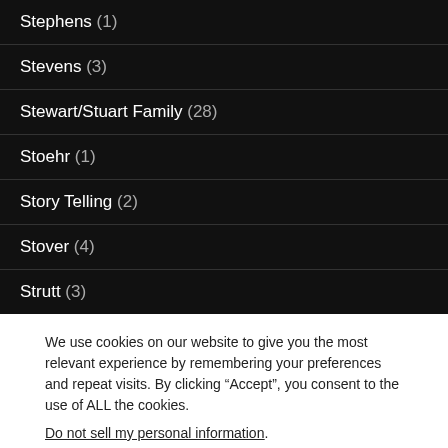Stephens (1)
Stevens (3)
Stewart/Stuart Family (28)
Stoehr (1)
Story Telling (2)
Stover (4)
Strutt (3)
We use cookies on our website to give you the most relevant experience by remembering your preferences and repeat visits. By clicking “Accept”, you consent to the use of ALL the cookies.
Do not sell my personal information.
Cookie settings | ACCEPT